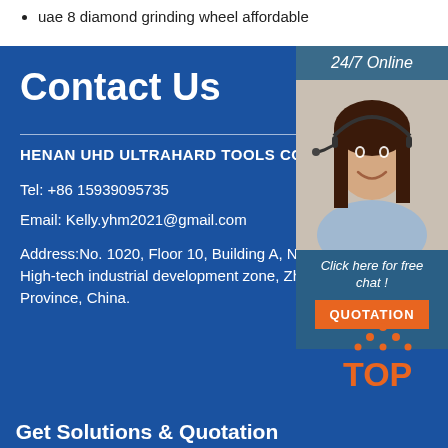uae 8 diamond grinding wheel affordable
Contact Us
HENAN UHD ULTRAHARD TOOLS CO., LTD
Tel: +86 15939095735
Email: Kelly.yhm2021@gmail.com
Address:No. 1020, Floor 10, Building A, No. 55, Lianhua Street, High-tech industrial development zone, Zhengzhou, Henan Province, China.
[Figure (photo): Customer service representative woman with headset, 24/7 Online chat widget with orange QUOTATION button]
[Figure (logo): TOP logo in orange with diamond/mountain dot pattern above the letters]
Get Solutions & Quotation